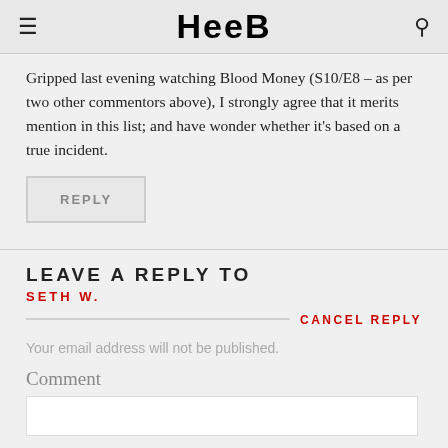HEEB
Gripped last evening watching Blood Money (S10/E8 – as per two other commentors above), I strongly agree that it merits mention in this list; and have wonder whether it’s based on a true incident.
REPLY
LEAVE A REPLY TO
SETH W.
CANCEL REPLY
Your email address will not be published.
Comment